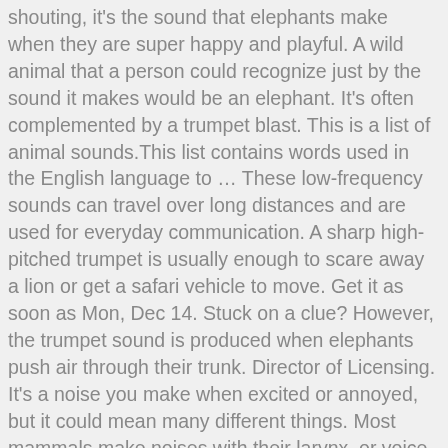shouting, it's the sound that elephants make when they are super happy and playful. A wild animal that a person could recognize just by the sound it makes would be an elephant. It's often complemented by a trumpet blast. This is a list of animal sounds.This list contains words used in the English language to … These low-frequency sounds can travel over long distances and are used for everyday communication. A sharp high-pitched trumpet is usually enough to scare away a lion or get a safari vehicle to move. Get it as soon as Mon, Dec 14. Stuck on a clue? However, the trumpet sound is produced when elephants push air through their trunk. Director of Licensing. It's a noise you make when excited or annoyed, but it could mean many different things. Most mammals make noises with their larynx, or voice box as it is also known. Radio Flyer Peanut Electric Ride-On Elephant with Sounds, Grey. Lying back in the tent you listen to the wild. If … Turn the bass up on your speakers or headphones because rumbling is a beautifully resonant sound, a little like a cat purring but deeper and more sonorous. Trumpeting is the most famous and recognisable sound from an